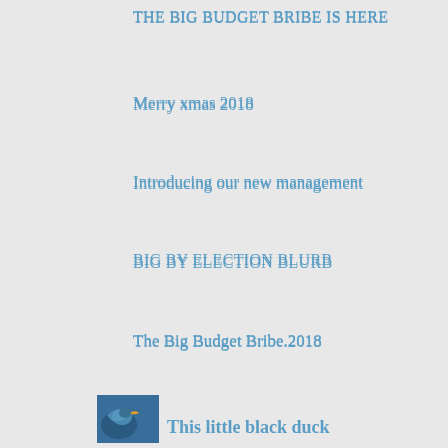THE BIG BUDGET BRIBE IS HERE
Merry xmas 2018
Introducing our new management
BIG BY ELECTION BLURB
The Big Budget Bribe.2018
Extended thread
winter olympics
A Friday Rant
[Figure (photo): Small thumbnail image of a duck, blue background]
This little black duck